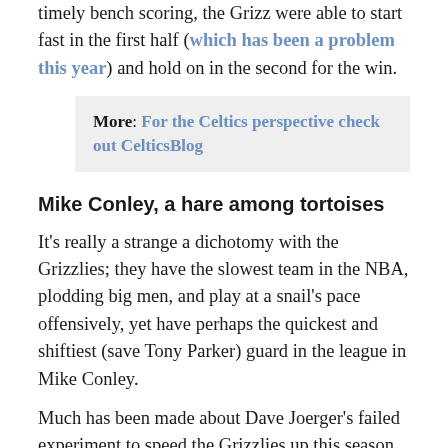timely bench scoring, the Grizz were able to start fast in the first half (which has been a problem this year) and hold on in the second for the win.
More: For the Celtics perspective check out CelticsBlog
Mike Conley, a hare among tortoises
It's really a strange a dichotomy with the Grizzlies; they have the slowest team in the NBA, plodding big men, and play at a snail's pace offensively, yet have perhaps the quickest and shiftiest (save Tony Parker) guard in the league in Mike Conley.
Much has been made about Dave Joerger's failed experiment to speed the Grizzlies up this season and the subsequent return to the slow it down, Grit n Grind style that characterized last year's team, but tonight, we may have seen a little bit of what the coach was